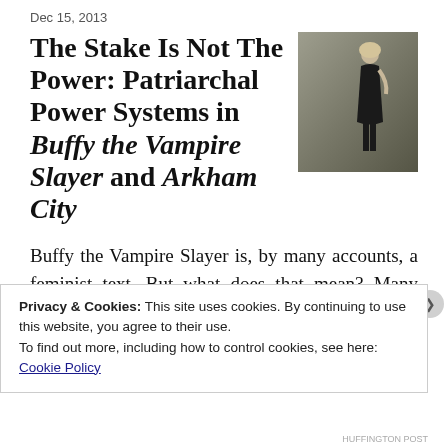Dec 15, 2013
The Stake Is Not The Power: Patriarchal Power Systems in Buffy the Vampire Slayer and Arkham City
[Figure (photo): Photo of a woman in a black dress standing against a wall]
Buffy the Vampire Slayer is, by many accounts, a feminist text. But what does that mean? Many would argue it means that it features a “strong female character.” But what does that mean? Buffy is certainly strong physically: she kicks ass
Privacy & Cookies: This site uses cookies. By continuing to use this website, you agree to their use.
To find out more, including how to control cookies, see here: Cookie Policy
Close and accept
HUFFINGTON POST